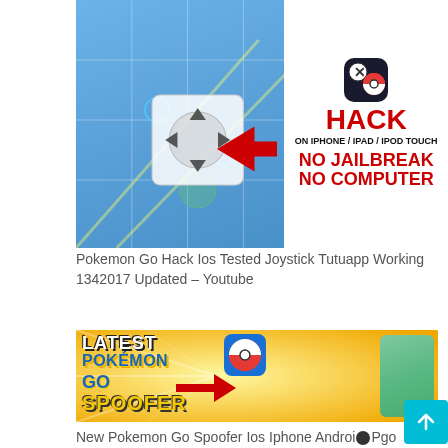[Figure (screenshot): Pokemon Go Hack promotional image showing gameplay map on left and text on right: HACK ON IPHONE/IPAD/IPOD TOUCH NO JAILBREAK NO COMPUTER in red and black text with app icon]
Pokemon Go Hack Ios Tested Joystick Tutuapp Working 1342017 Updated – Youtube
[Figure (screenshot): Latest Pokemon Go Spoofer promotional banner on yellow background with Pokemon GO logo, Pokeball icon, phone showing gameplay, and large text: LATEST, POKEMON, GO, SPOOFER]
New Pokemon Go Spoofer Ios Iphone Android Pgo Spoofer 2021 Tutorial Pokemon Go New